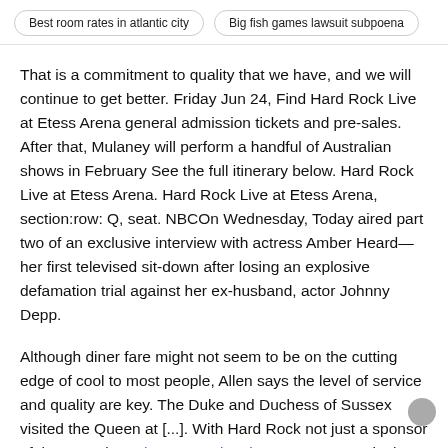Best room rates in atlantic city | Big fish games lawsuit subpoena
That is a commitment to quality that we have, and we will continue to get better. Friday Jun 24, Find Hard Rock Live at Etess Arena general admission tickets and pre-sales. After that, Mulaney will perform a handful of Australian shows in February See the full itinerary below. Hard Rock Live at Etess Arena. Hard Rock Live at Etess Arena, section:row: Q, seat. NBCOn Wednesday, Today aired part two of an exclusive interview with actress Amber Heard—her first televised sit-down after losing an explosive defamation trial against her ex-husband, actor Johnny Depp.
Although diner fare might not seem to be on the cutting edge of cool to most people, Allen says the level of service and quality are key. The Duke and Duchess of Sussex visited the Queen at [...]. With Hard Rock not just a sponsor of the event but a how to opt into beta wow partner in the Grand